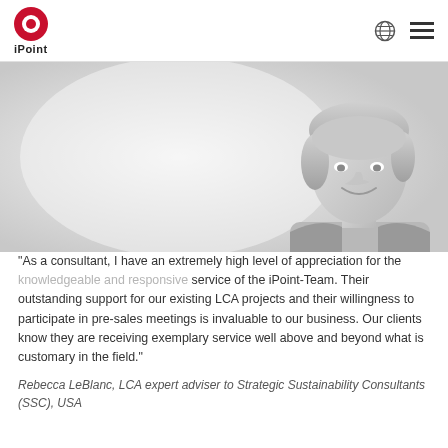iPoint
[Figure (photo): Black and white portrait photo of a smiling woman with short blonde hair positioned on the right side of the header image area]
"As a consultant, I have an extremely high level of appreciation for the knowledgeable and responsive service of the iPoint-Team. Their outstanding support for our existing LCA projects and their willingness to participate in pre-sales meetings is invaluable to our business. Our clients know they are receiving exemplary service well above and beyond what is customary in the field."
Rebecca LeBlanc, LCA expert adviser to Strategic Sustainability Consultants (SSC), USA